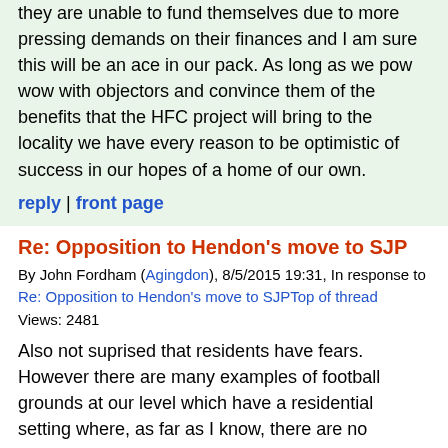they are unable to fund themselves due to more pressing demands on their finances and I am sure this will be an ace in our pack. As long as we pow wow with objectors and convince them of the benefits that the HFC project will bring to the locality we have every reason to be optimistic of success in our hopes of a home of our own.
reply | front page
Re: Opposition to Hendon's move to SJP
By John Fordham (Agingdon), 8/5/2015 19:31, In response to Re: Opposition to Hendon's move to SJPTop of thread
Views: 2481
Also not suprised that residents have fears. However there are many examples of football grounds at our level which have a residential setting where, as far as I know, there are no problems. Just look at Harrow Boro. Also Margate immediately comes to mind - relatively high attendances and